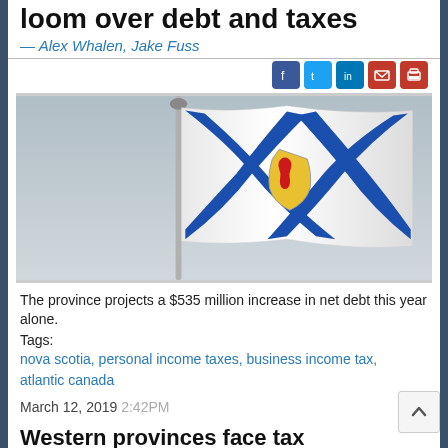loom over debt and taxes
— Alex Whalen, Jake Fuss
[Figure (photo): Nova Scotia provincial flag flying on a flagpole against a light grey sky. The flag shows a blue saltire cross on a white background with a coat of arms shield at the center featuring a golden lion.]
The province projects a $535 million increase in net debt this year alone.
Tags:
nova scotia, personal income taxes, business income tax, atlantic canada
March 12, 2019  2:42PM
Western provinces face tax disadvantage